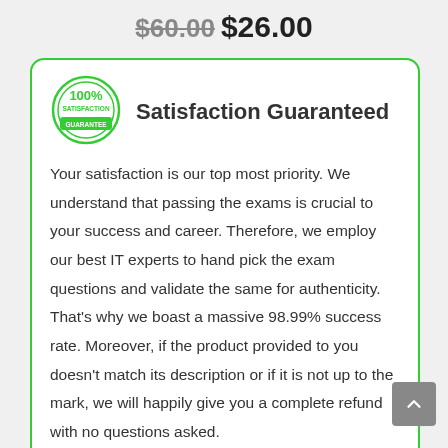$60.00 $26.00
Satisfaction Guaranteed
Your satisfaction is our top most priority. We understand that passing the exams is crucial to your success and career. Therefore, we employ our best IT experts to hand pick the exam questions and validate the same for authenticity. That's why we boast a massive 98.99% success rate. Moreover, if the product provided to you doesn't match its description or if it is not up to the mark, we will happily give you a complete refund with no questions asked.